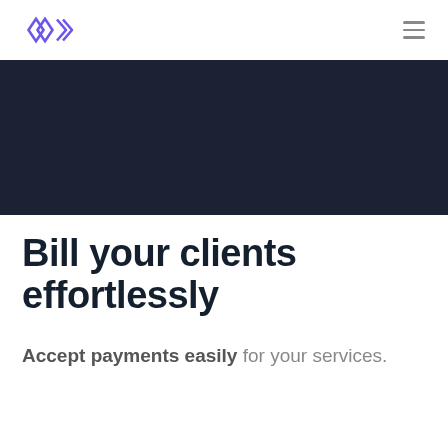Logo and navigation
[Figure (illustration): Dark navy banner/hero image area]
Bill your clients effortlessly
Accept payments easily for your services.